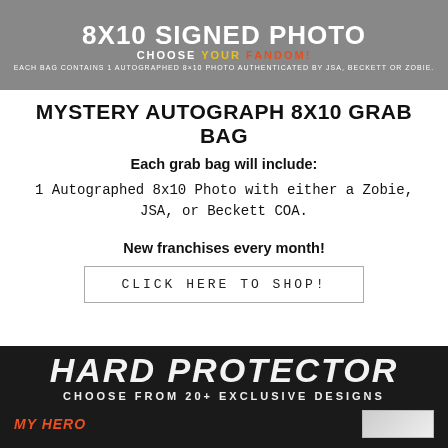[Figure (infographic): Gray banner with white bold text '8X10 SIGNED PHOTO', subtitle 'CHOOSE YOUR FANDOM!' in mixed white/yellow/red, and small fine print below about autographed photo authenticated by JSA, Beckett or Zobie.]
MYSTERY AUTOGRAPH 8X10 GRAB BAG
Each grab bag will include:
1 Autographed 8x10 Photo with either a Zobie, JSA, or Beckett COA.
New franchises every month!
CLICK HERE TO SHOP!
[Figure (infographic): Dark black banner with italic bold text 'HARD PROTECTOR', subtitle 'CHOOSE FROM 20+ EXCLUSIVE DESIGNS', and partial 'MY HERO' text bottom-left with product image on right.]